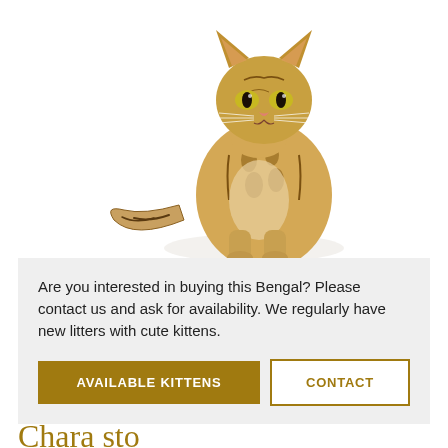[Figure (photo): A Bengal kitten sitting upright on a white background, facing slightly left, with spotted and striped tabby coat pattern.]
Are you interested in buying this Bengal? Please contact us and ask for availability. We regularly have new litters with cute kittens.
AVAILABLE KITTENS
CONTACT
Chara sto...